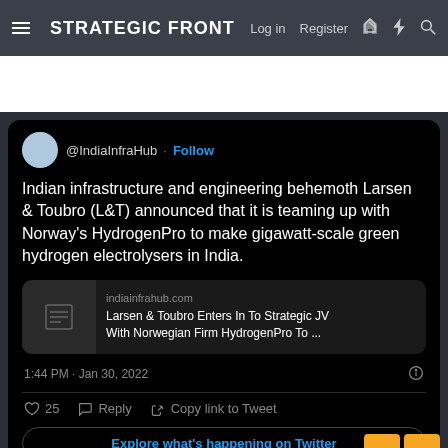STRATEGIC FRONT | Log in | Register
[Figure (screenshot): A tweet from @IndiaInfraHub embedded on Strategic Front website. Tweet reads: 'Indian infrastructure and engineering behemoth Larsen & Toubro (L&T) announced that it is teaming up with Norway's HydrogenPro to make gigawatt-scale green hydrogen electrolysers in India.' Includes link preview card for indiainfrahub.com article titled 'Larsen & Toubro Enters In To Strategic JV With Norwegian Firm HydrogenPro To ...' Timestamp: 1:44 PM · Jan 30, 2022. Actions: 25 likes, Reply, Copy link to Tweet. Explore what's happening on Twitter button at bottom.]
Ironhide